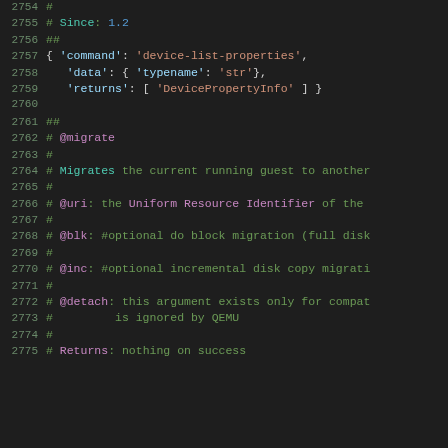Code listing lines 2754-2775 showing QEMU QMP API documentation comments for device-list-properties and migrate commands
[Figure (screenshot): Source code viewer showing lines 2754-2775 of a QEMU QMP API spec file with syntax highlighting. Dark background with line numbers in muted green on the left and code content on the right. Comments use green color, string literals use orange, keywords and special identifiers use purple or teal.]